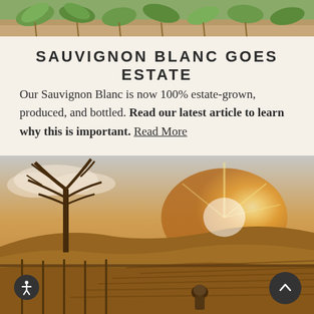[Figure (photo): Close-up photo of green plant seedlings in sandy/dry soil, cropped at top of page]
SAUVIGNON BLANC GOES ESTATE
Our Sauvignon Blanc is now 100% estate-grown, produced, and bottled. Read our latest article to learn why this is important. Read More
[Figure (photo): Warm golden-hour photo of a vineyard landscape with bare tree silhouette, rows of vines, a worker crouching in foreground, and bright sunbeam in background]